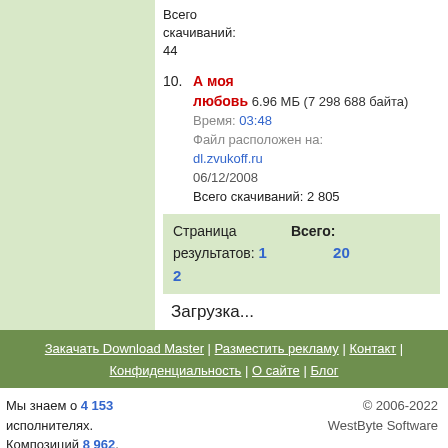Всего скачиваний: 44
10. А моя любовь 6.96 МБ (7 298 688 байта) Время: 03:48 Файл расположен на: dl.zvukoff.ru 06/12/2008 Всего скачиваний: 2 805
| Страница результатов: | Всего: |
| --- | --- |
| 1  2 | 20 |
Загрузка...
Закачать Download Master | Разместить рекламу | Контакт | Конфиденциальность | О сайте | Блог
Мы знаем о 4 153 исполнителях. Композиций 8 962.
© 2006-2022 WestByte Software